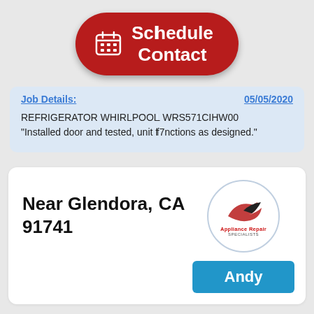[Figure (other): Red pill-shaped button with calendar icon and text 'Schedule Contact']
Job Details: 05/05/2020
REFRIGERATOR WHIRLPOOL WRS571CIHW00 "Installed door and tested, unit f7nctions as designed."
Near Glendora, CA 91741
[Figure (logo): Appliance Repair Specialists circular logo with bird/hawk graphic]
Andy